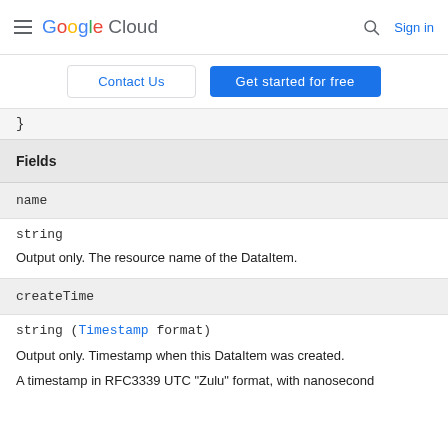Google Cloud  Sign in
Contact Us   Get started for free
}
| Fields |
| --- |
| name |
| string | Output only. The resource name of the DataItem. |
| createTime |
| string (Timestamp format) | Output only. Timestamp when this DataItem was created. | A timestamp in RFC3339 UTC "Zulu" format, with nanosecond |
Output only. The resource name of the DataItem.
Output only. Timestamp when this DataItem was created.
A timestamp in RFC3339 UTC "Zulu" format, with nanosecond